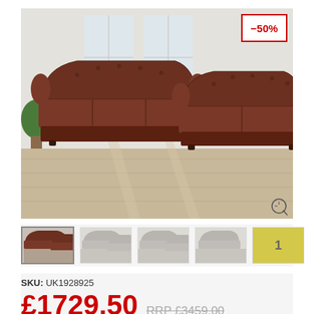[Figure (photo): Two brown leather Chesterfield sofas (a 3-seater and a 2-seater) in a bright living room with wooden floors and plants. A -50% discount badge is shown in the top-right corner of the image.]
[Figure (photo): Thumbnail gallery row showing 5 thumbnails: first is the active brown leather sofa set, next three are greyed-out alternate views, last is a yellow numbered thumbnail labeled 1.]
SKU: UK1928925
£1729.50  RRP £3459.00